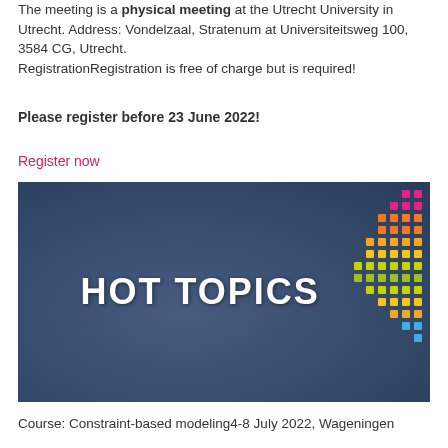The meeting is a physical meeting at the Utrecht University in Utrecht. Address: Vondelzaal, Stratenum at Universiteitsweg 100, 3584 CG, Utrecht.
RegistrationRegistration is free of charge but is required!
Please register before 23 June 2022!
Register now
[Figure (illustration): Banner image with 'HOT TOPICS' text in white on a dark blue background showing a crowd, with a decorative diagonal pattern of colorful dots (pink, orange, yellow, green, blue) in the upper right corner.]
Course: Constraint-based modeling4-8 July 2022, Wageningen